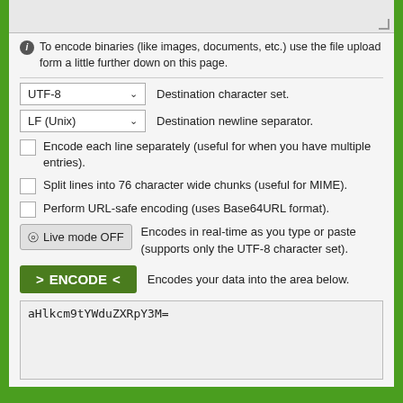[Figure (screenshot): Top portion of a web form textarea input (gray background, resize handle visible at bottom right)]
To encode binaries (like images, documents, etc.) use the file upload form a little further down on this page.
UTF-8 — Destination character set.
LF (Unix) — Destination newline separator.
Encode each line separately (useful for when you have multiple entries).
Split lines into 76 character wide chunks (useful for MIME).
Perform URL-safe encoding (uses Base64URL format).
Live mode OFF — Encodes in real-time as you type or paste (supports only the UTF-8 character set).
> ENCODE < — Encodes your data into the area below.
aHlkcm9tYWduZXRpY3M=